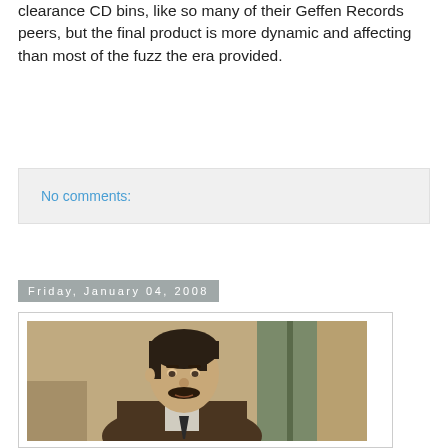clearance CD bins, like so many of their Geffen Records peers, but the final product is more dynamic and affecting than most of the fuzz the era provided.
No comments:
Friday, January 04, 2008
[Figure (photo): Portrait photo of a man with dark hair, mustache, wearing a brown jacket, looking intensely at camera. Period/historical style setting.]